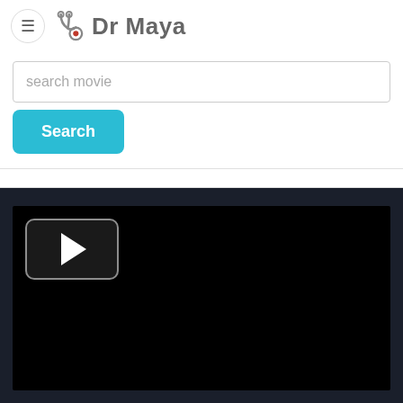≡ Dr Maya
[Figure (screenshot): Search bar with placeholder text 'search movie' and a cyan 'Search' button below]
[Figure (screenshot): Video player area with dark/black background and a play button in the top-left corner]